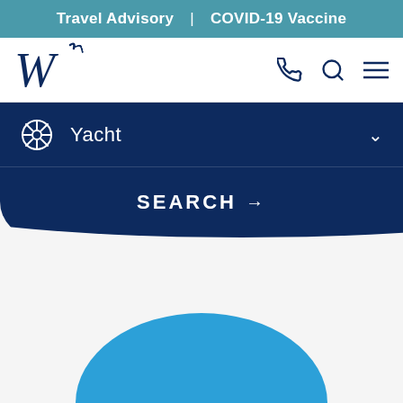Travel Advisory | COVID-19 Vaccine
[Figure (logo): Windstar Cruises stylized W logo in dark navy]
Yacht
SEARCH →
[Figure (illustration): Partial view of a blue circle or dome shape at the bottom of the page, likely a decorative globe or ship illustration]